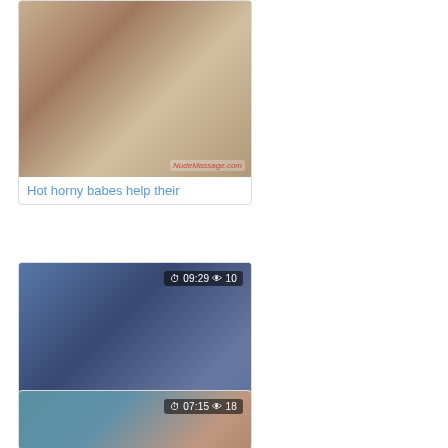[Figure (photo): Video thumbnail showing two women with a man, massage scene. Duration badge: 09:29, views: 10.]
Hot horny babes help their
[Figure (photo): Video thumbnail showing a woman with glasses in a blue-walled room, massage scene. Duration badge: 09:29, views: 10.]
Big Boobed Babe Gives Him
[Figure (photo): Video thumbnail showing a woman in a blue-walled room. Duration badge: 07:15, views: 18.]